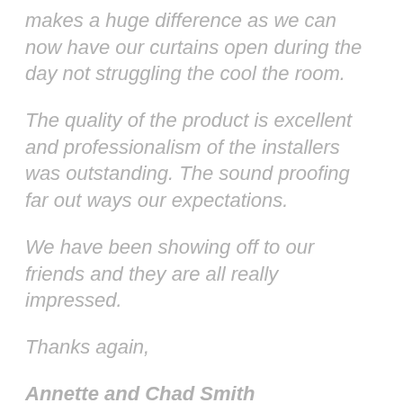makes a huge difference as we can now have our curtains open during the day not struggling the cool the room.
The quality of the product is excellent and professionalism of the installers was outstanding. The sound proofing far out ways our expectations.
We have been showing off to our friends and they are all really impressed.
Thanks again,
Annette and Chad Smith